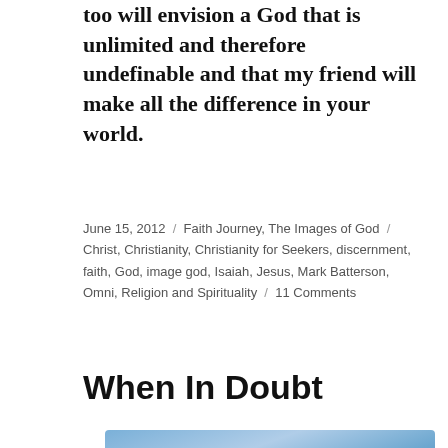too will envision a God that is unlimited and therefore undefinable and that my friend will make all the difference in your world.
June 15, 2012 / Faith Journey, The Images of God / Christ, Christianity, Christianity for Seekers, discernment, faith, God, image god, Isaiah, Jesus, Mark Batterson, Omni, Religion and Spirituality / 11 Comments
When In Doubt
[Figure (illustration): Image with blue sky and clouds background. Text reads: 'When In Doubt' as title in red/brown, then 'When in doubt, keep the faith / You will see the outcome of your faith. / Don't give up!' in dark italic text.]